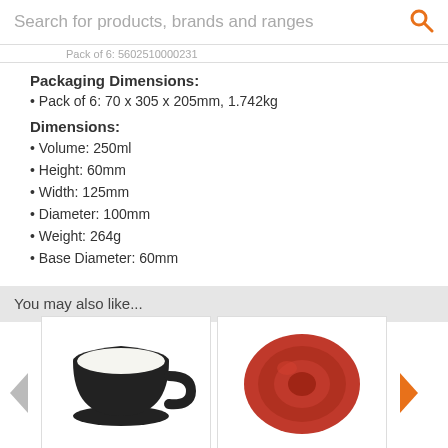Search for products, brands and ranges
Pack of 6: 5602510000231
Packaging Dimensions:
Pack of 6: 70 x 305 x 205mm, 1.742kg
Dimensions:
Volume: 250ml
Height: 60mm
Width: 125mm
Diameter: 100mm
Weight: 264g
Base Diameter: 60mm
You may also like...
[Figure (photo): Royal Genware Bowl Shaped Cup Black - a black ceramic bowl-shaped coffee cup with white interior]
Royal Genware Bowl Shaped Cup Black
[Figure (photo): Royal Genware Saucer Red 16cm - a round red ceramic saucer viewed from above]
Royal Genware Saucer Red 16cm